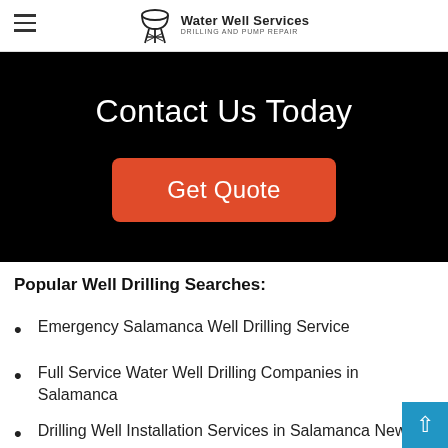Water Well Services — Drilling and Pump Repair
Contact Us Today
[Figure (other): Red 'Get Quote' call-to-action button on black background]
Popular Well Drilling Searches:
Emergency Salamanca Well Drilling Service
Full Service Water Well Drilling Companies in Salamanca
Drilling Well Installation Services in Salamanca New